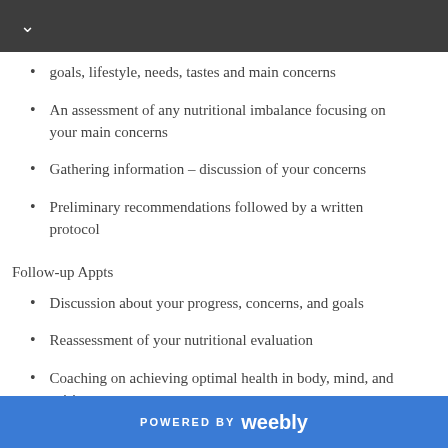goals, lifestyle, needs, tastes and main concerns
An assessment of any nutritional imbalance focusing on your main concerns
Gathering information – discussion of your concerns
Preliminary recommendations followed by a written protocol
Follow-up Appts
Discussion about your progress, concerns, and goals
Reassessment of your nutritional evaluation
Coaching on achieving optimal health in body, mind, and spirit
POWERED BY weebly